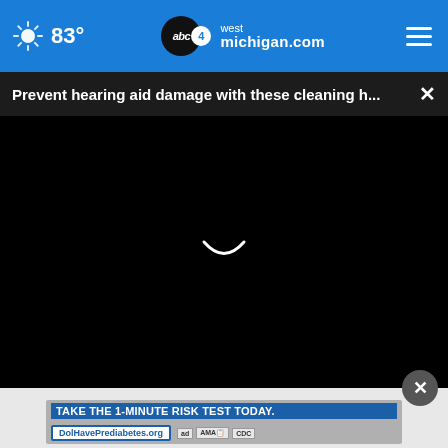83° abc4 west michigan.com
Prevent hearing aid damage with these cleaning h...
[Figure (screenshot): Black video player area with a white loading spinner arc in the center]
[Figure (screenshot): Advertisement banner: TAKE THE 1-MINUTE RISK TEST TODAY. DolHavePrediabetes.org with ad, AMA, CDC logos]